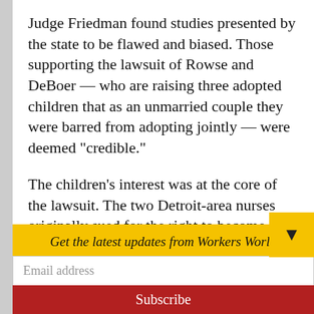Judge Friedman found studies presented by the state to be flawed and biased. Those supporting the lawsuit of Rowse and DeBoer — who are raising three adopted children that as an unmarried couple they were barred from adopting jointly — were deemed “credible.”
The children’s interest was at the core of the lawsuit. The two Detroit-area nurses originally sued for the right to become joint legal parents of all three children.  As an
Get the latest updates from Workers World
Email address
Subscribe